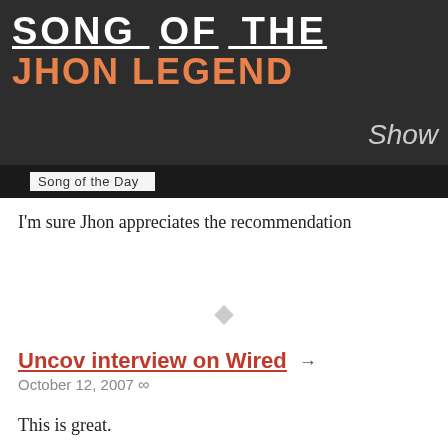[Figure (photo): Photo of a chalkboard sign reading 'Song Of The Jhon Legend Show' with a 'Song of the Day' card below]
I'm sure Jhon appreciates the recommendation
Uncov interview on Wired →
October 12, 2007 ∞
This is great.